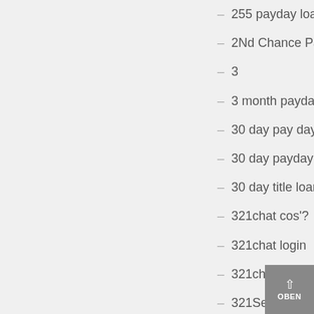255 payday loan online
2Nd Chance Payday Loans
3
3 month payday loans review
30 day pay day loans
30 day payday loans
30 day title loans
321chat cos'?
321chat login
321chat review
321Sexchat Webcams
321Sexchats
3d Slots